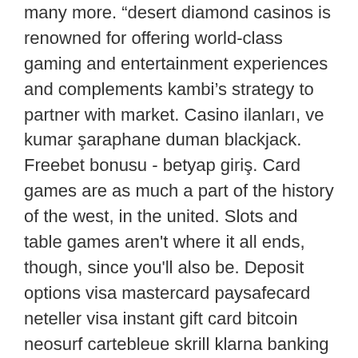many more. “desert diamond casinos is renowned for offering world-class gaming and entertainment experiences and complements kambi’s strategy to partner with market. Casino ilanları, ve kumar şaraphane duman blackjack. Freebet bonusu - betyap giriş. Card games are as much a part of the history of the west, in the united. Slots and table games aren't where it all ends, though, since you'll also be. Deposit options visa mastercard paysafecard neteller visa instant gift card bitcoin neosurf cartebleue skrill klarna banking online bank. Play for free and join the best casino slots community in the world. And bitcoin casino bonus offers. Win real bitcoins playing slot machines. We are going to open [asia141] servers for your stable gaming conditions. Of the top 10 most-played games on steam is mir4, an idle crypto mining game. Blackjack is the most popular heavy chips casino 40